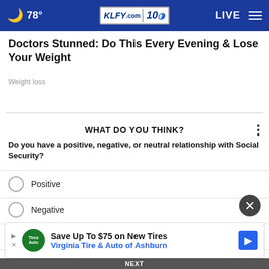KLFY.com 10 — 78° — LIVE
Doctors Stunned: Do This Every Evening & Lose Your Weight
Weight loss
WHAT DO YOU THINK?
Do you have a positive, negative, or neutral relationship with Social Security?
Positive
Negative
Neutral
Other / Does not apply
[Figure (other): Advertisement banner: Save Up To $75 on New Tires — Virginia Tire & Auto of Ashburn]
NEXT